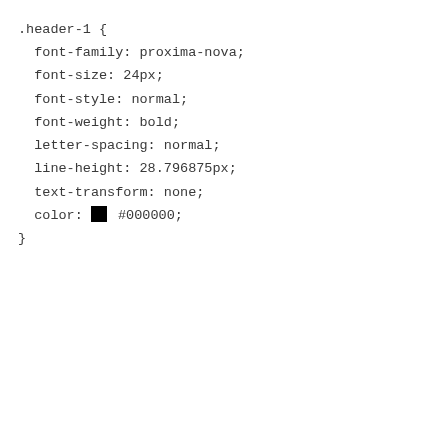.header-1 {
  font-family: proxima-nova;
  font-size: 24px;
  font-style: normal;
  font-weight: bold;
  letter-spacing: normal;
  line-height: 28.796875px;
  text-transform: none;
  color: #000000;
}